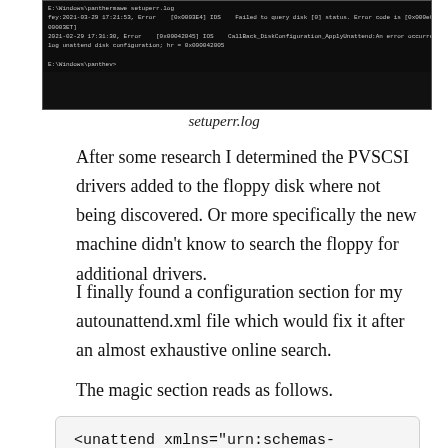[Figure (screenshot): A terminal/command prompt window showing setuperr.log contents with error messages about disk configuration and PVSCSI drivers. Dark background with light text showing error codes like 0x000003E7 and 0x00042005.]
setuperr.log
After some research I determined the PVSCSI drivers added to the floppy disk where not being discovered. Or more specifically the new machine didn't know to search the floppy for additional drivers.
I finally found a configuration section for my autounattend.xml file which would fix it after an almost exhaustive online search.
The magic section reads as follows.
<unattend xmlns="urn:schemas-microsoft.com:unattend">